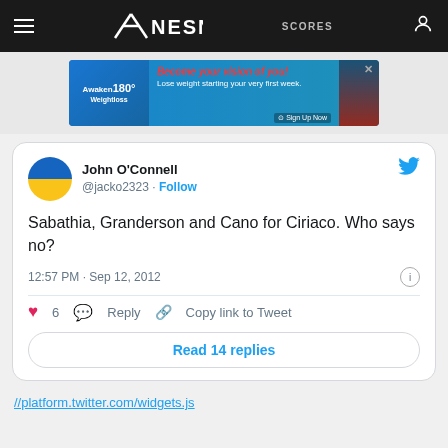NESN — navigation bar with hamburger menu, NESN logo, SCORES, user icon
[Figure (screenshot): Advertisement banner: Awaken180 Weightloss — 'Become your vision of you! Lose weight starting your very first week.' with Sign Up Now CTA]
John O'Connell
@jacko2323 · Follow

Sabathia, Granderson and Cano for Ciriaco. Who says no?

12:57 PM · Sep 12, 2012

♥ 6  Reply  Copy link to Tweet

Read 14 replies
//platform.twitter.com/widgets.js